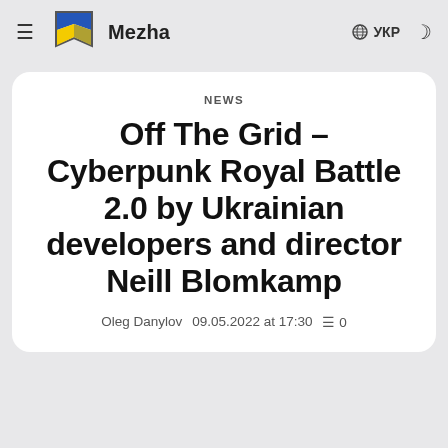Mezha | УКР
NEWS
Off The Grid – Cyberpunk Royal Battle 2.0 by Ukrainian developers and director Neill Blomkamp
Oleg Danylov  09.05.2022 at 17:30  = 0